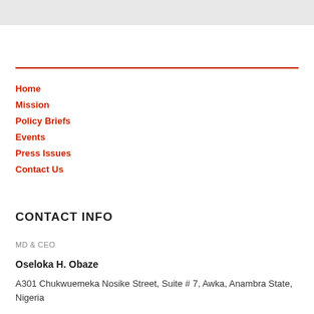[Figure (other): Light grey rectangular banner at top of page]
Home
Mission
Policy Briefs
Events
Press Issues
Contact Us
CONTACT INFO
MD & CEO
Oseloka H. Obaze
A301 Chukwuemeka Nosike Street, Suite # 7, Awka, Anambra State, Nigeria